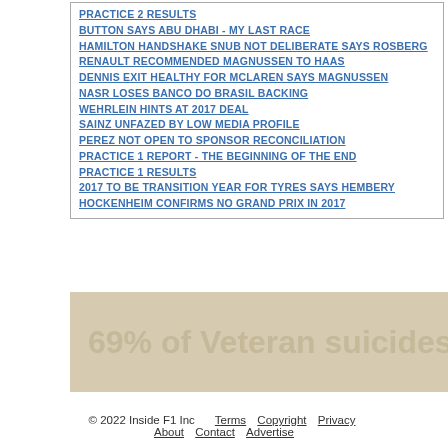PRACTICE 2 RESULTS
BUTTON SAYS ABU DHABI - MY LAST RACE
HAMILTON HANDSHAKE SNUB NOT DELIBERATE SAYS ROSBERG
RENAULT RECOMMENDED MAGNUSSEN TO HAAS
DENNIS EXIT HEALTHY FOR MCLAREN SAYS MAGNUSSEN
NASR LOSES BANCO DO BRASIL BACKING
WEHRLEIN HINTS AT 2017 DEAL
SAINZ UNFAZED BY LOW MEDIA PROFILE
PEREZ NOT OPEN TO SPONSOR RECONCILIATION
PRACTICE 1 REPORT - THE BEGINNING OF THE END
PRACTICE 1 RESULTS
2017 TO BE TRANSITION YEAR FOR TYRES SAYS HEMBERY
HOCKENHEIM CONFIRMS NO GRAND PRIX IN 2017
[Figure (other): Advertisement banner with text '69% of Veteran suicides are g...' on a tan/beige background]
© 2022 Inside F1 Inc   Terms   Copyright   Privacy   About   Contact   Advertise